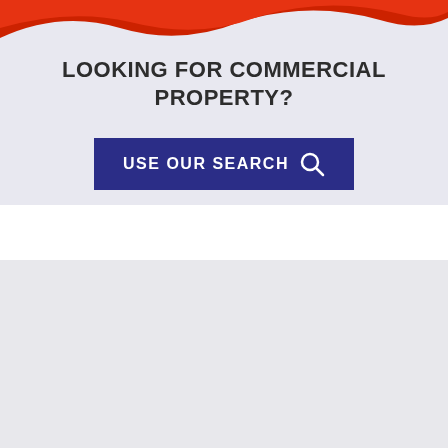[Figure (illustration): Red and white wave graphic banner at the top of the page]
LOOKING FOR COMMERCIAL PROPERTY?
USE OUR SEARCH
We can help you
Please click on the link to input your details and we will then contact you.